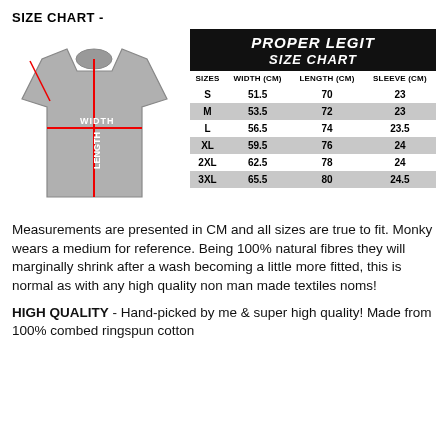SIZE CHART -
[Figure (illustration): T-shirt diagram showing measurement lines for sleeve, width, and length with red crosshair lines and text labels]
| SIZES | WIDTH (CM) | LENGTH (CM) | SLEEVE (CM) |
| --- | --- | --- | --- |
| S | 51.5 | 70 | 23 |
| M | 53.5 | 72 | 23 |
| L | 56.5 | 74 | 23.5 |
| XL | 59.5 | 76 | 24 |
| 2XL | 62.5 | 78 | 24 |
| 3XL | 65.5 | 80 | 24.5 |
Measurements are presented in CM and all sizes are true to fit. Monky wears a medium for reference. Being 100% natural fibres they will marginally shrink after a wash becoming a little more fitted, this is normal as with any high quality non man made textiles noms!
HIGH QUALITY - Hand-picked by me & super high quality! Made from 100% combed ringspun cotton